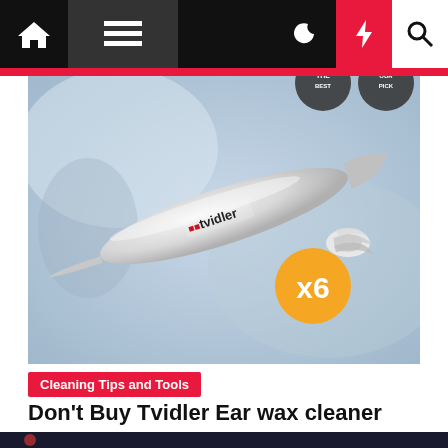Navigation bar with home, menu, dark mode, lightning, and search icons
[Figure (photo): Tvidler ear wax cleaner product photo — a silver spiral ear cleaning device with white silicone tip and an orange circle badge showing x6, on a blurred light blue background]
Cleaning Tips and Tools
Don't Buy Tvidler Ear wax cleaner
Poppy Slater  3 months ago
[Figure (photo): Partially visible thumbnail of another article at the bottom of the page]